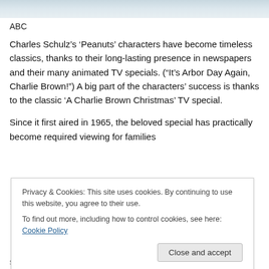[Figure (photo): Partial image strip at top of page, light blue/grey tones]
ABC
Charles Schulz’s ‘Peanuts’ characters have become timeless classics, thanks to their long-lasting presence in newspapers and their many animated TV specials. (“It’s Arbor Day Again, Charlie Brown!”) A big part of the characters’ success is thanks to the classic ‘A Charlie Brown Christmas’ TV special.
Since it first aired in 1965, the beloved special has practically become required viewing for families
Privacy & Cookies: This site uses cookies. By continuing to use this website, you agree to their use.
To find out more, including how to control cookies, see here: Cookie Policy
sappier than your aunt’s homemade egg nog.